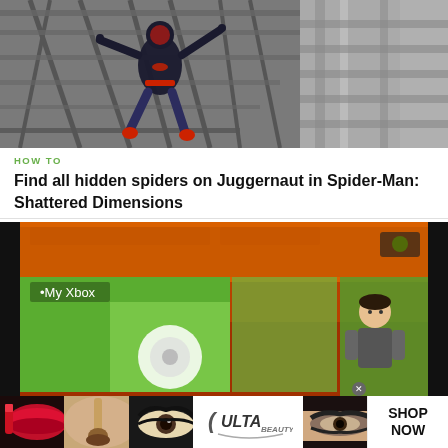[Figure (screenshot): Spider-Man Shattered Dimensions game screenshot showing Spider-Man crawling on a metal cage/grid structure viewed from below, grayscale industrial environment]
HOW TO
Find all hidden spiders on Juggernaut in Spider-Man: Shattered Dimensions
[Figure (screenshot): Xbox 360 dashboard screenshot showing 'My Xbox' menu with green tiles and an Xbox avatar character on the right side]
[Figure (advertisement): Ulta Beauty advertisement banner showing close-up makeup images (lips with lipstick, makeup brush, eye with mascara, Ulta logo, smoky eye, eye makeup) with SHOP NOW text]